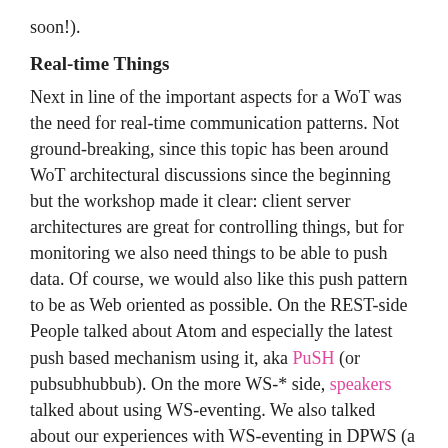soon!).
Real-time Things
Next in line of the important aspects for a WoT was the need for real-time communication patterns. Not ground-breaking, since this topic has been around WoT architectural discussions since the beginning but the workshop made it clear: client server architectures are great for controlling things, but for monitoring we also need things to be able to push data. Of course, we would also like this push pattern to be as Web oriented as possible. On the REST-side People talked about Atom and especially the latest push based mechanism using it, aka PuSH (or pubsubhubbub). On the more WS-* side, speakers talked about using WS-eventing. We also talked about our experiences with WS-eventing in DPWS (a device tailored WS-* stack) and concluded that it was getting better but still quite heavy for many devices and rather hard to get hands on.